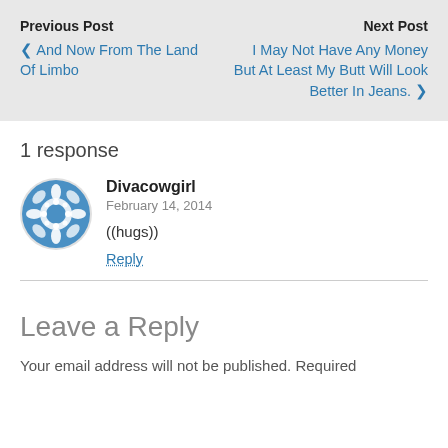Previous Post ‹ And Now From The Land Of Limbo
Next Post I May Not Have Any Money But At Least My Butt Will Look Better In Jeans. ›
1 response
[Figure (illustration): Blue and white circular decorative avatar icon with geometric snowflake-like pattern]
Divacowgirl
February 14, 2014
((hugs))
Reply
Leave a Reply
Your email address will not be published. Required